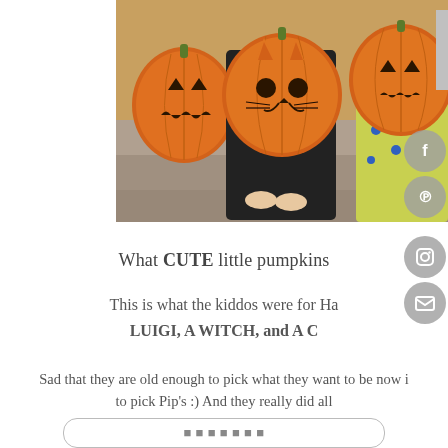[Figure (photo): Photo of children sitting on steps holding carved jack-o-lantern pumpkins. One child in black witch costume holds a pumpkin with cat face carved in it up to their face. Another child in yellow/green clothing has a pumpkin over their head. A third carved pumpkin sits on the left. Social media icons (Facebook, Pinterest, Instagram, Email) overlay the right edge of the photo area.]
What CUTE little pumpkins
This is what the kiddos were for Ha... LUIGI, A WITCH, and A C...
Sad that they are old enough to pick what they want to be now i... to pick Pip's :) And they really did all...